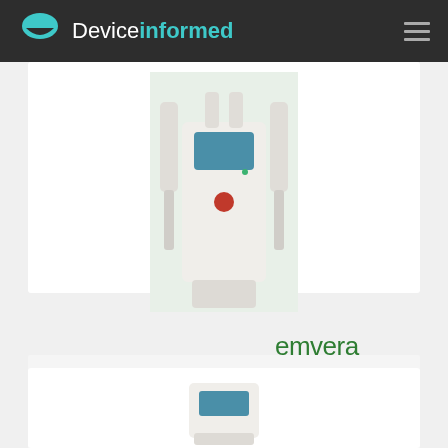Deviceinformed
[Figure (photo): White IPL/VPL medical device machine with two handpieces on either side and a touchscreen display on top, shown against a light green background]
[Figure (logo): Emvera technologies, LLC logo in dark green text]
Aesthelite
IPL platforms, VPL platforms
Read more
[Figure (photo): Partial view of another medical device at the bottom of the page]